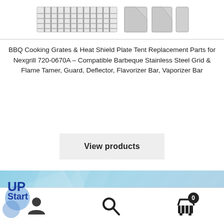[Figure (photo): BBQ cooking grates and heat shield plate parts product image showing grill grates and metal heat deflector plates on white background]
BBQ Cooking Grates & Heat Shield Plate Tent Replacement Parts for Nexgrill 720-0670A – Compatible Barbeque Stainless Steel Grid & Flame Tamer, Guard, Deflector, Flavorizer Bar, Vaporizer Bar
View products
[Figure (logo): UpStart Component brand banner with blue gradient background showing UpStart logo and 'Component' text in white]